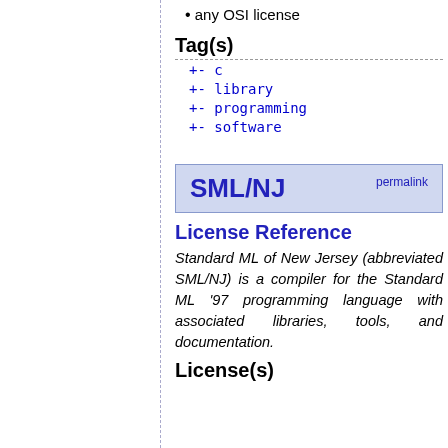any OSI license
Tag(s)
+- c
+- library
+- programming
+- software
SML/NJ
License Reference
Standard ML of New Jersey (abbreviated SML/NJ) is a compiler for the Standard ML '97 programming language with associated libraries, tools, and documentation.
License(s)